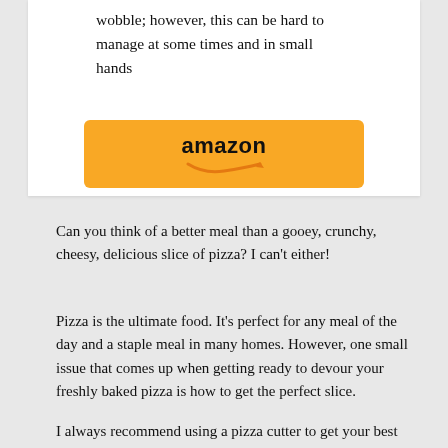wobble; however, this can be hard to manage at some times and in small hands
[Figure (logo): Amazon logo button — yellow/gold rounded rectangle with the word 'amazon' in bold black text and the Amazon smile arrow beneath it]
Can you think of a better meal than a gooey, crunchy, cheesy, delicious slice of pizza? I can't either!
Pizza is the ultimate food. It's perfect for any meal of the day and a staple meal in many homes. However, one small issue that comes up when getting ready to devour your freshly baked pizza is how to get the perfect slice.
I always recommend using a pizza cutter to get your best cut, but they aren't all made equally. Keep reading to see